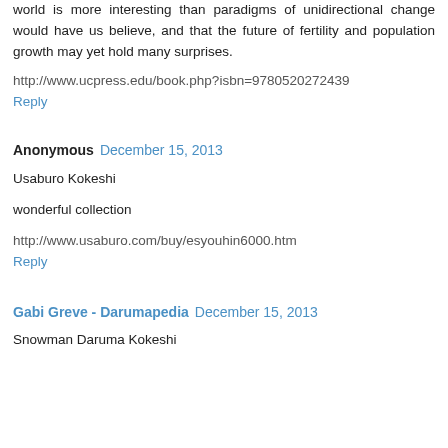world is more interesting than paradigms of unidirectional change would have us believe, and that the future of fertility and population growth may yet hold many surprises.
http://www.ucpress.edu/book.php?isbn=9780520272439
Reply
Anonymous  December 15, 2013
Usaburo Kokeshi
wonderful collection
http://www.usaburo.com/buy/esyouhin6000.htm
Reply
Gabi Greve - Darumapedia  December 15, 2013
Snowman Daruma Kokeshi